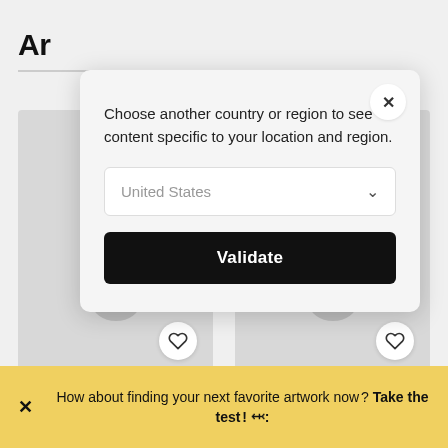Ar
[Figure (screenshot): Modal dialog on top of an artwork browsing page. Modal has text 'Choose another country or region to see content specific to your location and region.' with a 'United States' dropdown and a black 'Validate' button. Behind are two product cards with person icons and heart buttons, plus two 'Sue Rosalind Vesely' artist labels. A yellow banner at the bottom reads: 'How about finding your next favorite artwork now ? Take the test ! ✦']
Choose another country or region to see content specific to your location and region.
United States
Validate
Sue Rosalind Vesely
Sue Rosalind Vesely
How about finding your next favorite artwork now ? Take the test ! ✦